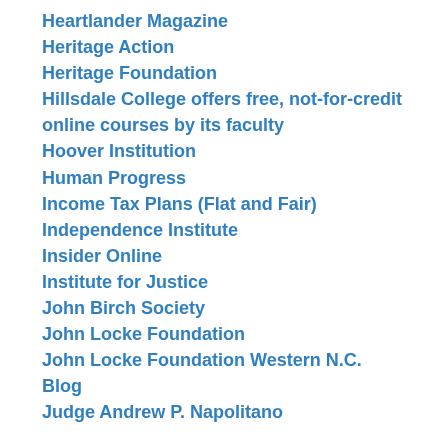Heartlander Magazine
Heritage Action
Heritage Foundation
Hillsdale College offers free, not-for-credit online courses by its faculty
Hoover Institution
Human Progress
Income Tax Plans (Flat and Fair)
Independence Institute
Insider Online
Institute for Justice
John Birch Society
John Locke Foundation
John Locke Foundation Western N.C. Blog
Judge Andrew P. Napolitano